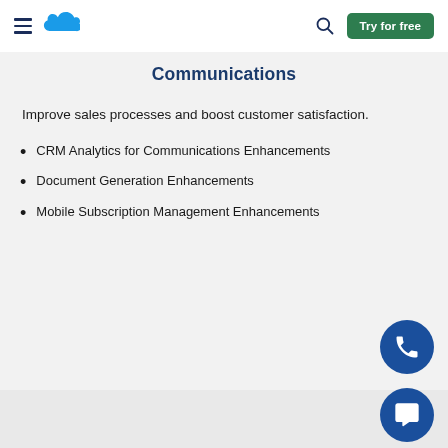Salesforce navigation bar with hamburger menu, cloud logo, search icon, and Try for free button
Communications
Improve sales processes and boost customer satisfaction.
CRM Analytics for Communications Enhancements
Document Generation Enhancements
Mobile Subscription Management Enhancements
[Figure (illustration): Blue circular floating action button with white phone icon]
[Figure (illustration): Blue circular floating action button with white chat/message icon]